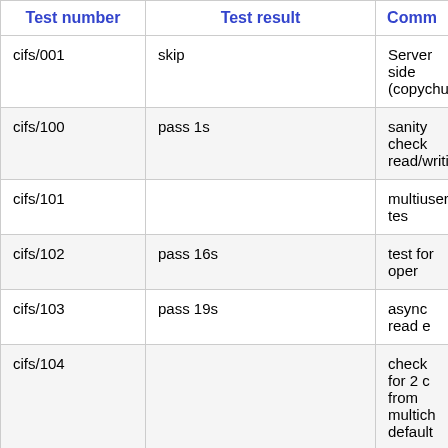| Test number | Test result | Comm |
| --- | --- | --- |
| cifs/001 | skip | Server side (copychunk) |
| cifs/100 | pass 1s | sanity check read/writing |
| cifs/101 |  | multiuser tes |
| cifs/102 | pass 16s | test for oper |
| cifs/103 | pass 19s | async read e |
| cifs/104 |  | check for 2 c from multich default |
| cifs/105 | pass 1s | trigger oploc read-write a from differen points |
| cifs/106 | pass 1s | check for int close |
|  |  | Random file |